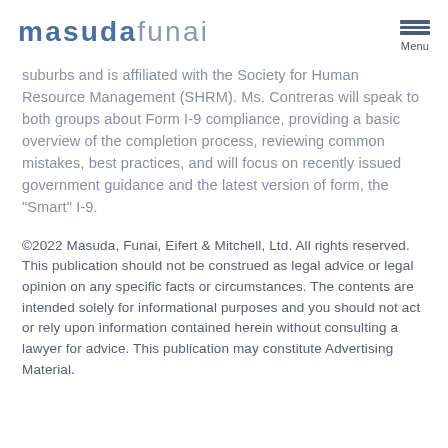masudafunai
suburbs and is affiliated with the Society for Human Resource Management (SHRM). Ms. Contreras will speak to both groups about Form I-9 compliance, providing a basic overview of the completion process, reviewing common mistakes, best practices, and will focus on recently issued government guidance and the latest version of form, the "Smart" I-9.
©2022 Masuda, Funai, Eifert & Mitchell, Ltd. All rights reserved. This publication should not be construed as legal advice or legal opinion on any specific facts or circumstances. The contents are intended solely for informational purposes and you should not act or rely upon information contained herein without consulting a lawyer for advice. This publication may constitute Advertising Material.